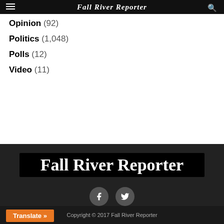Fall River Reporter
Opinion (92)
Politics (1,048)
Polls (12)
Video (11)
[Figure (logo): Fall River Reporter logo: white bold serif text on black background]
[Figure (infographic): Facebook and Twitter social media icon buttons (dark gray circles with white icons)]
Copyright © 2017 Fall River Reporter
Translate »